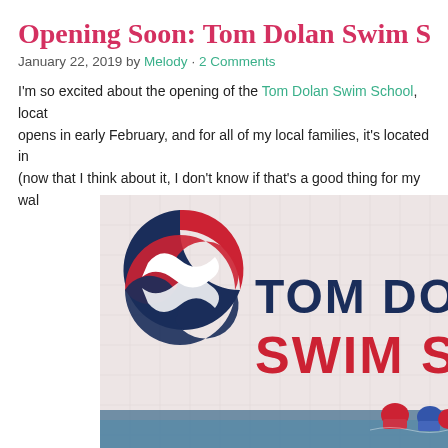Opening Soon: Tom Dolan Swim S
January 22, 2019 by Melody · 2 Comments
I'm so excited about the opening of the Tom Dolan Swim School, locat… opens in early February, and for all of my local families, it's located in… (now that I think about it, I don't know if that's a good thing for my wal…
[Figure (photo): Tom Dolan Swim School logo on a tiled wall — red and navy circular wave logo on the left, large navy text 'TOM DO' and red bold text 'SWIM S' on the right, with children in swim caps visible at the bottom right]